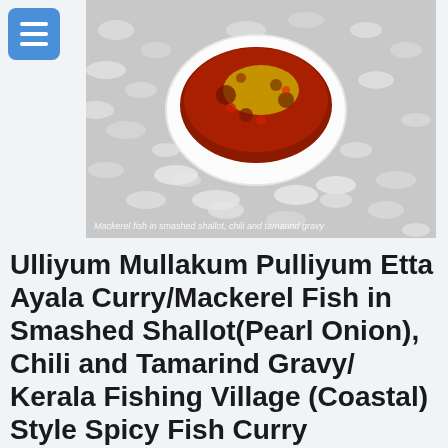[Figure (photo): Photo of mackerel fish curry served in a white bowl on a bed of white rice, with red spicy gravy. Caption overlay reads: Mackerel fish in smashed shallot, chili and tamarind gravy]
Ulliyum Mullakum Pulliyum Etta Ayala Curry/Mackerel Fish in Smashed Shallot(Pearl Onion), Chili and Tamarind Gravy/Kerala Fishing Village (Coastal) Style Spicy Fish Curry